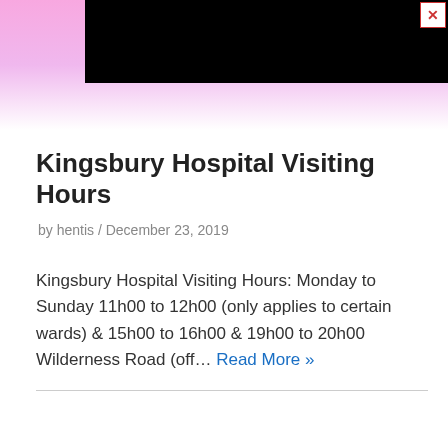[Figure (photo): Banner image with pink gradient background and black rectangle overlay, with a close button in top right corner]
Kingsbury Hospital Visiting Hours
by hentis / December 23, 2019
Kingsbury Hospital Visiting Hours: Monday to Sunday 11h00 to 12h00 (only applies to certain wards) & 15h00 to 16h00 & 19h00 to 20h00 Wilderness Road (off... Read More »